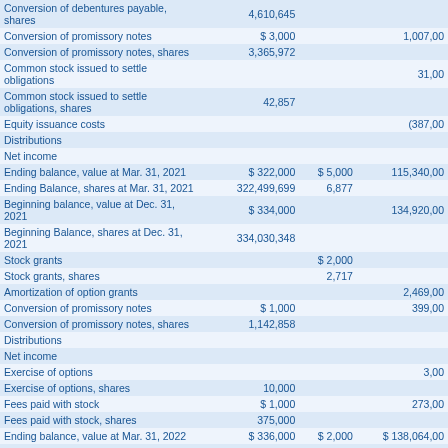|  | Col2 | Col3 | Col4 |
| --- | --- | --- | --- |
| Conversion of debentures payable, shares | 4,610,645 |  |  |
| Conversion of promissory notes | $ 3,000 |  | 1,007,00 |
| Conversion of promissory notes, shares | 3,365,972 |  |  |
| Common stock issued to settle obligations |  |  | 31,00 |
| Common stock issued to settle obligations, shares | 42,857 |  |  |
| Equity issuance costs |  |  | (387,00 |
| Distributions |  |  |  |
| Net income |  |  |  |
| Ending balance, value at Mar. 31, 2021 | $ 322,000 | $ 5,000 | 115,340,00 |
| Ending Balance, shares at Mar. 31, 2021 | 322,499,699 | 6,877 |  |
| Beginning balance, value at Dec. 31, 2021 | $ 334,000 |  | 134,920,00 |
| Beginning Balance, shares at Dec. 31, 2021 | 334,030,348 |  |  |
| Stock grants |  | $ 2,000 |  |
| Stock grants, shares |  | 2,717 |  |
| Amortization of option grants |  |  | 2,469,00 |
| Conversion of promissory notes | $ 1,000 |  | 399,00 |
| Conversion of promissory notes, shares | 1,142,858 |  |  |
| Distributions |  |  |  |
| Net income |  |  |  |
| Exercise of options |  |  | 3,00 |
| Exercise of options, shares | 10,000 |  |  |
| Fees paid with stock | $ 1,000 |  | 273,00 |
| Fees paid with stock, shares | 375,000 |  |  |
| Ending balance, value at Mar. 31, 2022 | $ 336,000 | $ 2,000 | $ 138,064,00 |
| Ending Balance, shares at Mar. 31, 2022 | 335,558,206 | 2,717 |  |